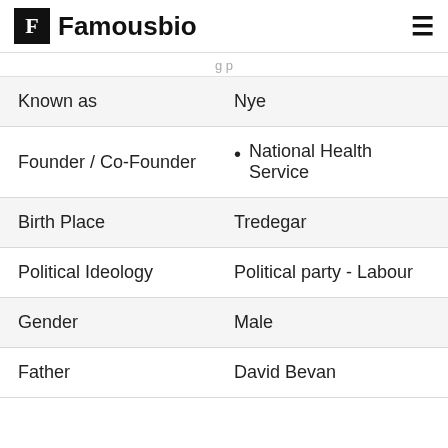Famousbio
| Field | Value |
| --- | --- |
| Known as | Nye |
| Founder / Co-Founder | National Health Service |
| Birth Place | Tredegar |
| Political Ideology | Political party - Labour |
| Gender | Male |
| Father | David Bevan |